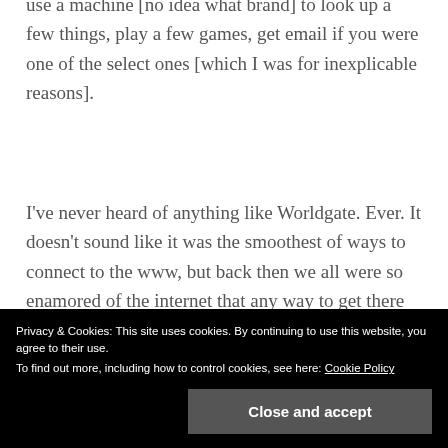use a machine [no idea what brand] to look up a few things, play a few games, get email if you were one of the select ones [which I was for inexplicable reasons].
I've never heard of anything like Worldgate. Ever. It doesn't sound like it was the smoothest of ways to connect to the www, but back then we all were so enamored of the internet that any way to get there was great. However, I'm glad that you finally got a computer and went online
introvertedness in real life. I've become
Privacy & Cookies: This site uses cookies. By continuing to use this website, you agree to their use.
To find out more, including how to control cookies, see here: Cookie Policy